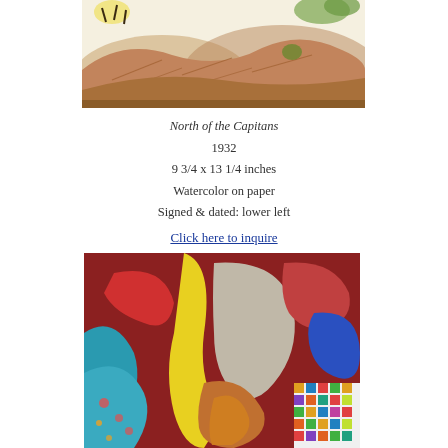[Figure (illustration): Watercolor painting of rolling hills/mountains with trees, earth tones, browns and greens, sky with yellow sun, titled North of the Capitans]
North of the Capitans
1932
9 3/4 x 13 1/4 inches
Watercolor on paper
Signed & dated: lower left
Click here to inquire
[Figure (illustration): Colorful abstract or figurative painting with bold shapes in red, yellow, blue, orange, teal, and multicolor patterns]